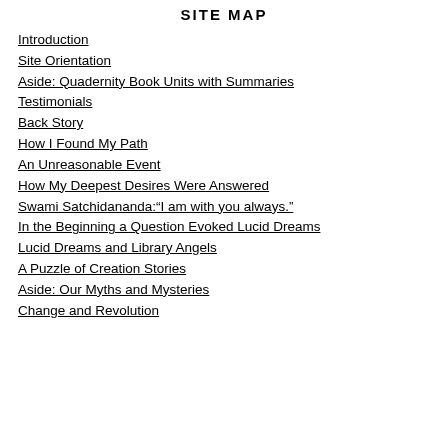SITE MAP
Introduction
Site Orientation
Aside: Quadernity Book Units with Summaries
Testimonials
Back Story
How I Found My Path
An Unreasonable Event
How My Deepest Desires Were Answered
Swami Satchidananda:“I am with you always.”
In the Beginning a Question Evoked Lucid Dreams
Lucid Dreams and Library Angels
A Puzzle of Creation Stories
Aside: Our Myths and Mysteries
Change and Revolution